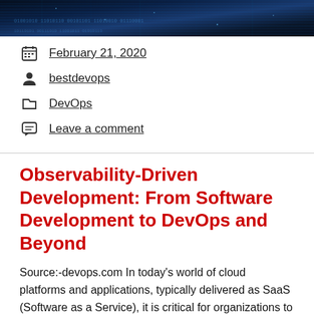[Figure (photo): Dark blue digital/technology background image with binary or network pattern]
February 21, 2020
bestdevops
DevOps
Leave a comment
Observability-Driven Development: From Software Development to DevOps and Beyond
Source:-devops.com In today's world of cloud platforms and applications, typically delivered as SaaS (Software as a Service), it is critical for organizations to ensure efficient collaboration between software development and operations teams. The software development team codes the